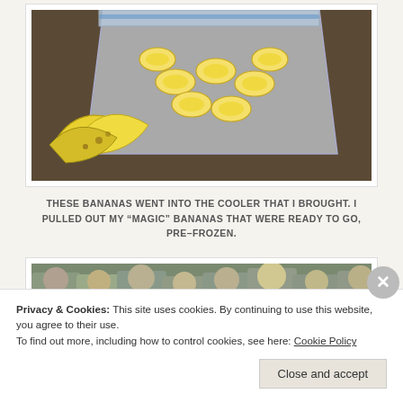[Figure (photo): Photo of sliced banana pieces in a clear zip-lock plastic bag, with whole bananas visible below on a wooden surface]
THESE BANANAS WENT INTO THE COOLER THAT I BROUGHT. I PULLED OUT MY “MAGIC” BANANAS THAT WERE READY TO GO, PRE-FROZEN.
[Figure (photo): Photo of a group of children, partially visible at the bottom of the page]
Privacy & Cookies: This site uses cookies. By continuing to use this website, you agree to their use.
To find out more, including how to control cookies, see here: Cookie Policy